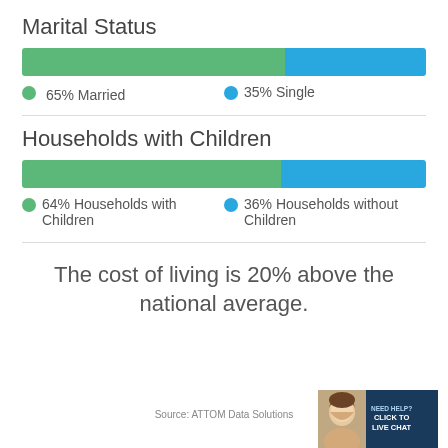Marital Status
[Figure (stacked-bar-chart): Marital Status]
65% Married
35% Single
Households with Children
[Figure (stacked-bar-chart): Households with Children]
64% Households with Children
36% Households without Children
The cost of living is 20% above the national average.
Source: ATTOM Data Solutions